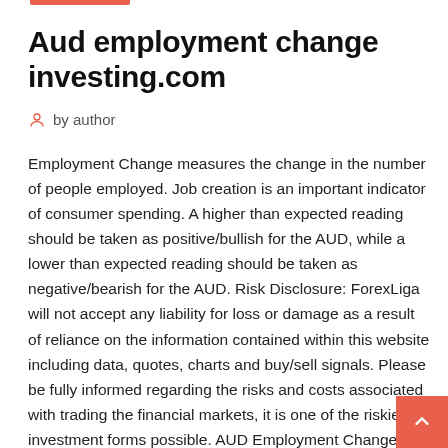Aud employment change investing.com
by author
Employment Change measures the change in the number of people employed. Job creation is an important indicator of consumer spending. A higher than expected reading should be taken as positive/bullish for the AUD, while a lower than expected reading should be taken as negative/bearish for the AUD. Risk Disclosure: ForexLiga will not accept any liability for loss or damage as a result of reliance on the information contained within this website including data, quotes, charts and buy/sell signals. Please be fully informed regarding the risks and costs associated with trading the financial markets, it is one of the riskiest investment forms possible. AUD Employment Change (M/M) Actual. 39.9K. Forecast. 14K. The Employment Change, released by the Australian Bureau of Statistics, tracks the number of people employed to act as an indicator at a direct...